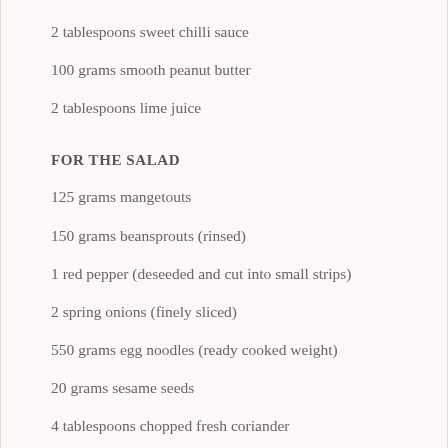2 tablespoons sweet chilli sauce
100 grams smooth peanut butter
2 tablespoons lime juice
FOR THE SALAD
125 grams mangetouts
150 grams beansprouts (rinsed)
1 red pepper (deseeded and cut into small strips)
2 spring onions (finely sliced)
550 grams egg noodles (ready cooked weight)
20 grams sesame seeds
4 tablespoons chopped fresh coriander